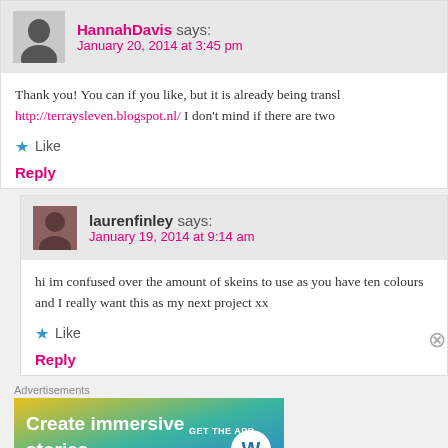HannahDavis says: January 20, 2014 at 3:45 pm
Thank you! You can if you like, but it is already being transl http://terraysleven.blogspot.nl/ I don't mind if there are two
Like
Reply
laurenfinley says: January 19, 2014 at 9:14 am
hi im confused over the amount of skeins to use as you have ten colours and I really want this as my next project xx
Like
Reply
Advertisements
[Figure (other): WordPress advertisement banner: Create immersive stories. GET THE APP with WordPress logo]